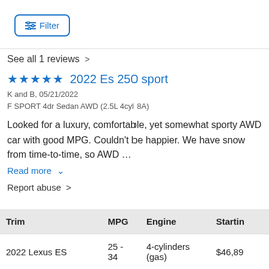[Figure (other): Filter button with sliders icon]
See all 1 reviews >
★★★★★ 2022 Es 250 sport
K and B, 05/21/2022
F SPORT 4dr Sedan AWD (2.5L 4cyl 8A)
Looked for a luxury, comfortable, yet somewhat sporty AWD car with good MPG. Couldn't be happier. We have snow from time-to-time, so AWD …
Read more ∨
Report abuse >
| Trim | MPG | Engine | Starting |
| --- | --- | --- | --- |
| 2022 Lexus ES | 25 - 34 | 4-cylinders (gas) | $46,89 |